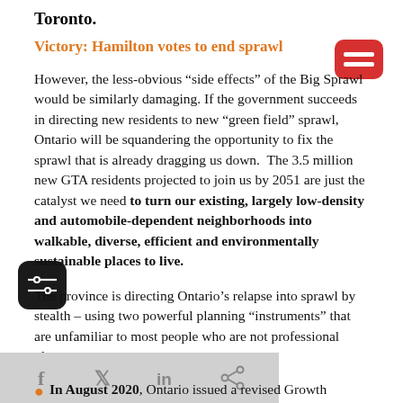Toronto.
Victory: Hamilton votes to end sprawl
However, the less-obvious “side effects” of the Big Sprawl would be similarly damaging. If the government succeeds in directing new residents to new “green field” sprawl, Ontario will be squandering the opportunity to fix the sprawl that is already dragging us down.  The 3.5 million new GTA residents projected to join us by 2051 are just the catalyst we need to turn our existing, largely low-density and automobile-dependent neighborhoods into walkable, diverse, efficient and environmentally sustainable places to live.
The province is directing Ontario’s relapse into sprawl by stealth – using two powerful planning “instruments” that are unfamiliar to most people who are not professional planners:
In August 2020, Ontario issued a revised Growth